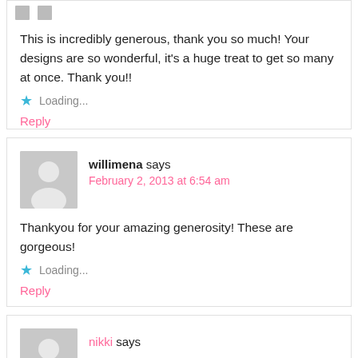This is incredibly generous, thank you so much! Your designs are so wonderful, it's a huge treat to get so many at once. Thank you!!
Loading...
Reply
willimena says
February 2, 2013 at 6:54 am
Thankyou for your amazing generosity! These are gorgeous!
Loading...
Reply
nikki says